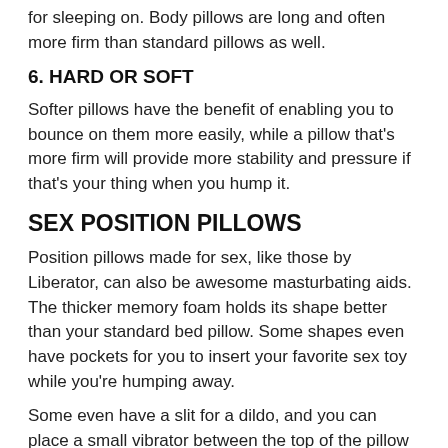for sleeping on. Body pillows are long and often more firm than standard pillows as well.
6. HARD OR SOFT
Softer pillows have the benefit of enabling you to bounce on them more easily, while a pillow that’s more firm will provide more stability and pressure if that’s your thing when you hump it.
SEX POSITION PILLOWS
Position pillows made for sex, like those by Liberator, can also be awesome masturbating aids. The thicker memory foam holds its shape better than your standard bed pillow. Some shapes even have pockets for you to insert your favorite sex toy while you’re humping away.
Some even have a slit for a dildo, and you can place a small vibrator between the top of the pillow and your clitoris as you straddle it. Another pillow is